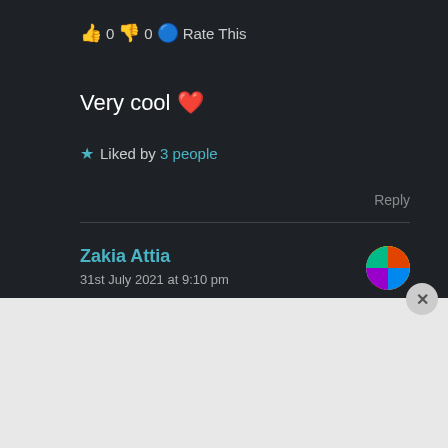👍 0 👎 0 🔵 Rate This
Very cool ❤️
★ Liked by 3 people
Reply
Zakia Attia
31st July 2021 at 9:10 pm
Advertisement(s)
[Figure (screenshot): DuckDuckGo advertisement banner with orange background showing 'Search, browse, and email with more privacy. All in One Free App' text with DuckDuckGo logo on a phone mockup]